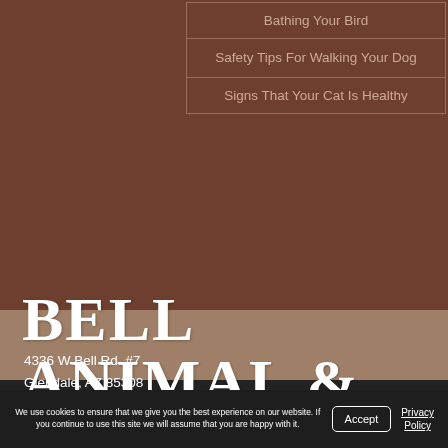Bathing Your Bird
Safety Tips For Walking Your Dog
Signs That Your Cat Is Healthy
BELL ANIMAL & BIRD HOSPITAL
4336 W Bell Rd. #7
Glendale, AZ 85308
(602) 978-4331
We use cookies to ensure that we give you the best experience on our website. If you continue to use this site we will assume that you are happy with it.
Accept
Privacy Policy